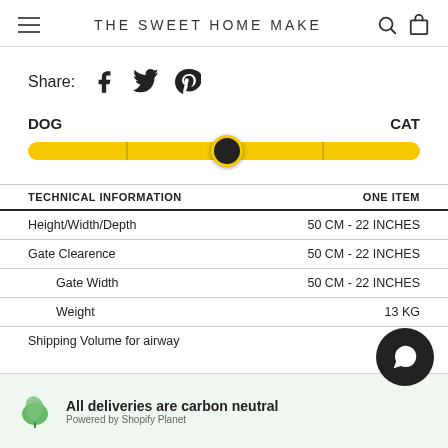THE SWEET HOME MAKE
Share:
| TECHNICAL INFORMATION | ONE ITEM |
| --- | --- |
| Height/Width/Depth | 50 CM - 22 INCHES |
| Gate Clearence | 50 CM - 22 INCHES |
| Gate Width | 50 CM - 22 INCHES |
| Weight | 13 KG |
| Shipping Volume for airway |  |
All deliveries are carbon neutral
Powered by Shopify Planet